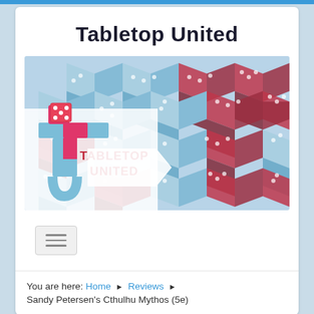Tabletop United
[Figure (logo): Tabletop United banner logo with isometric dice pattern in blue and red/crimson colors. The logo shows a stylized 'T' and 'U' letter mark in blue and pink/red with a red die on top, and text 'TABLETOP UNITED' in red on the right side. Background is a tessellating pattern of isometric dice cubes in light blue and dark red.]
[Figure (other): Hamburger menu button with three horizontal lines]
You are here:  Home  ▶  Reviews  ▶
Sandy Petersen's Cthulhu Mythos (5e)